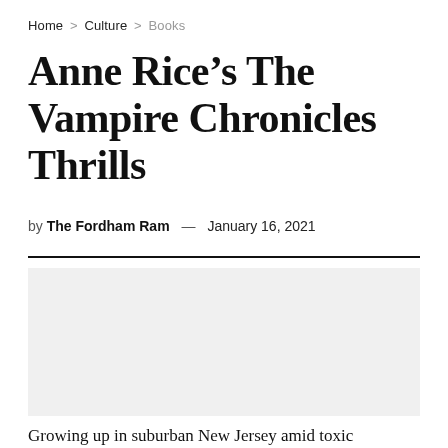Home > Culture > Books
Anne Rice's The Vampire Chronicles Thrills
by The Fordham Ram — January 16, 2021
[Figure (photo): Gray placeholder image area for article photo]
Growing up in suburban New Jersey amid toxic masculinity